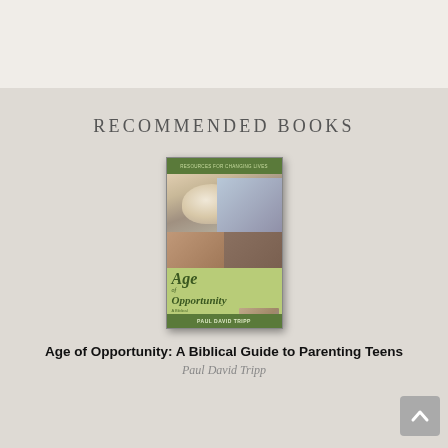RECOMMENDED BOOKS
[Figure (photo): Book cover of 'Age of Opportunity: A Biblical Guide to Parenting Teens' by Paul David Tripp. Cover shows photos of teenagers and has a green color scheme.]
Age of Opportunity: A Biblical Guide to Parenting Teens
Paul David Tripp